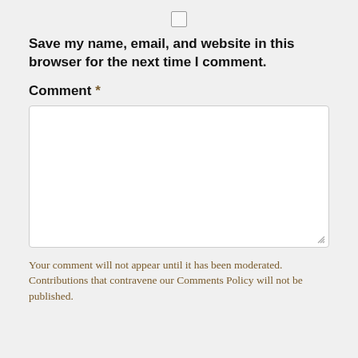[Figure (other): Checkbox (unchecked)]
Save my name, email, and website in this browser for the next time I comment.
Comment *
[Figure (other): Empty comment textarea input field]
Your comment will not appear until it has been moderated.
Contributions that contravene our Comments Policy will not be published.